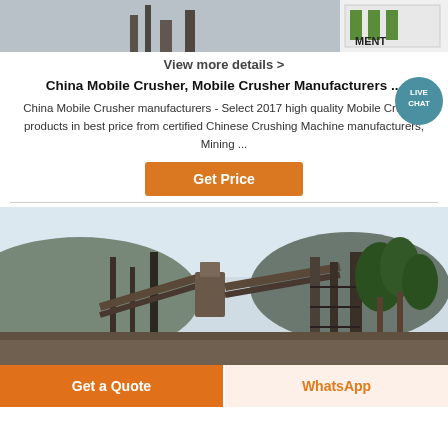[Figure (photo): Top portion of a mobile crusher / industrial equipment image, showing machinery with a sign reading MENT (Equipment)]
View more details >
China Mobile Crusher, Mobile Crusher Manufacturers ...
China Mobile Crusher manufacturers - Select 2017 high quality Mobile Crusher products in best price from certified Chinese Crushing Machine manufacturers, Mining ...
[Figure (screenshot): Live Chat bubble icon in teal/blue color with speech bubble and text LIVE CHAT]
Get Price
[Figure (photo): Industrial mining/crushing plant with heavy machinery, conveyor belts, scaffolding, and trees in background against a light sky]
Get a Quote
WhatsApp